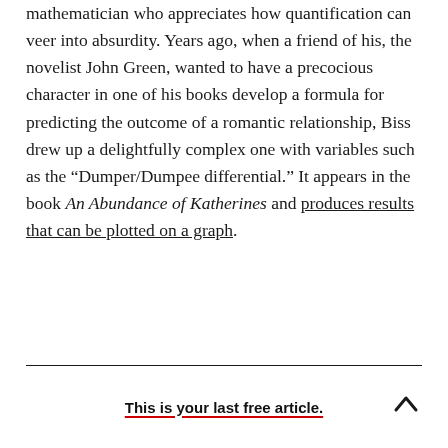mathematician who appreciates how quantification can veer into absurdity. Years ago, when a friend of his, the novelist John Green, wanted to have a precocious character in one of his books develop a formula for predicting the outcome of a romantic relationship, Biss drew up a delightfully complex one with variables such as the “Dumper/Dumpee differential.” It appears in the book An Abundance of Katherines and produces results that can be plotted on a graph.
This is your last free article.